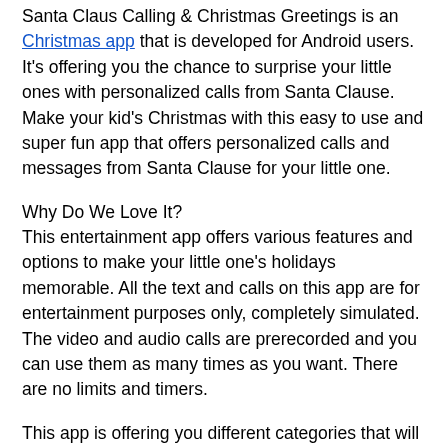Santa Claus Calling & Christmas Greetings is an Christmas app that is developed for Android users. It's offering you the chance to surprise your little ones with personalized calls from Santa Clause. Make your kid's Christmas with this easy to use and super fun app that offers personalized calls and messages from Santa Clause for your little one.
Why Do We Love It?
This entertainment app offers various features and options to make your little one's holidays memorable. All the text and calls on this app are for entertainment purposes only, completely simulated. The video and audio calls are prerecorded and you can use them as many times as you want. There are no limits and timers.
This app is offering you different categories that will make Christmas even more exciting. Get voicemails, calls, and video calls as well as messages from Santa. Discover and download Christmas wallpapers and choose between many beautiful Christmas greetings. Put your wishes in the app's wishlist, use Christmas emojis and much more with the app.
Download the app now on Google Play to surprise your little one with a personalized call from Santa.